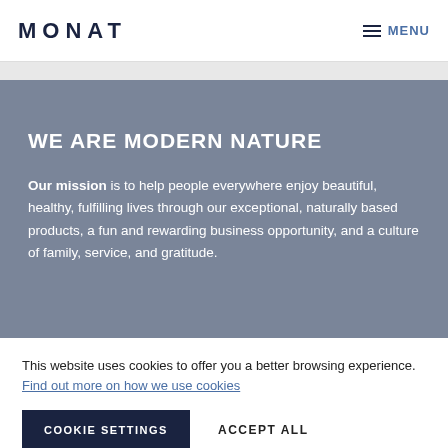MONAT | MENU
WE ARE MODERN NATURE
Our mission is to help people everywhere enjoy beautiful, healthy, fulfilling lives through our exceptional, naturally based products, a fun and rewarding business opportunity, and a culture of family, service, and gratitude.
This website uses cookies to offer you a better browsing experience. Find out more on how we use cookies
COOKIE SETTINGS   ACCEPT ALL